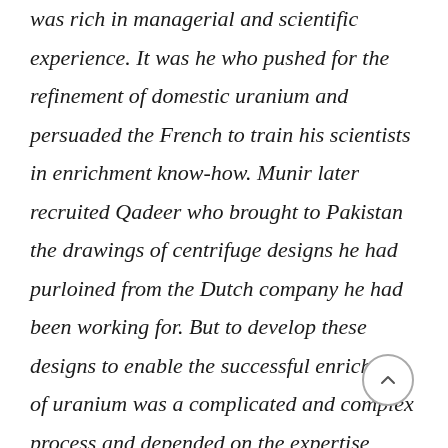was rich in managerial and scientific experience. It was he who pushed for the refinement of domestic uranium and persuaded the French to train his scientists in enrichment know-how. Munir later recruited Qadeer who brought to Pakistan the drawings of centrifuge designs he had purloined from the Dutch company he had been working for. But to develop these designs to enable the successful enriching of uranium was a complicated and complex process and depended on the expertise Munir had put together in Pakistan.